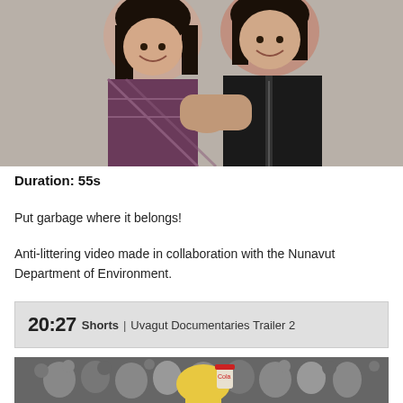[Figure (photo): Two smiling people, one in a plaid shirt and one in a black jacket, photographed outdoors.]
Duration: 55s
Put garbage where it belongs!
Anti-littering video made in collaboration with the Nunavut Department of Environment.
20:27 Shorts | Uvagut Documentaries Trailer 2
[Figure (photo): Crowd scene with a person in the foreground wearing a colorful jacket.]